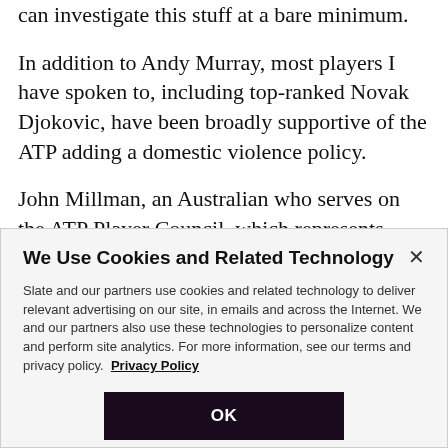can investigate this stuff at a bare minimum.
In addition to Andy Murray, most players I have spoken to, including top-ranked Novak Djokovic, have been broadly supportive of the ATP adding a domestic violence policy.
John Millman, an Australian who serves on the ATP Player Council, which represents player interests in
We Use Cookies and Related Technology
Slate and our partners use cookies and related technology to deliver relevant advertising on our site, in emails and across the Internet. We and our partners also use these technologies to personalize content and perform site analytics. For more information, see our terms and privacy policy.  Privacy Policy
OK